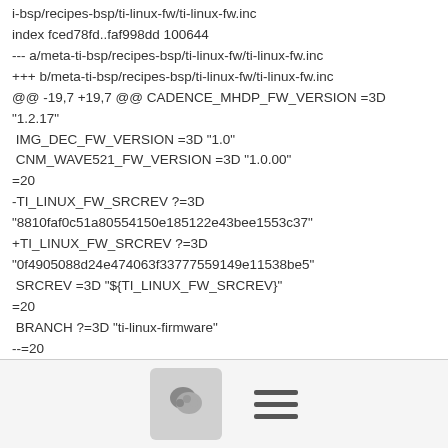i-bsp/recipes-bsp/ti-linux-fw/ti-linux-fw.inc
index fced78fd..faf998dd 100644
--- a/meta-ti-bsp/recipes-bsp/ti-linux-fw/ti-linux-fw.inc
+++ b/meta-ti-bsp/recipes-bsp/ti-linux-fw/ti-linux-fw.inc
@@ -19,7 +19,7 @@ CADENCE_MHDP_FW_VERSION =3D "1.2.17"
 IMG_DEC_FW_VERSION =3D "1.0"
 CNM_WAVE521_FW_VERSION =3D "1.0.00"
=20
-TI_LINUX_FW_SRCREV ?=3D "8810faf0c51a80554150e185122e43bee1553c37"
+TI_LINUX_FW_SRCREV ?=3D "0f4905088d24e474063f33777559149e11538be5"
 SRCREV =3D "${TI_LINUX_FW_SRCREV}"
=20
 BRANCH ?=3D "ti-linux-firmware"
--=20
2.25.1
[Figure (other): Footer bar with a comment/chat button icon (rounded rectangle with speech bubble icon) and a hamburger menu icon (three horizontal lines)]